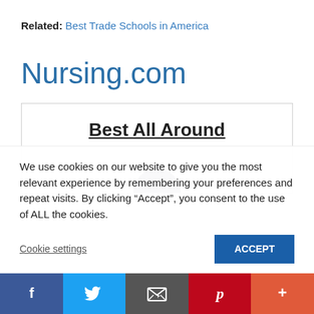Related: Best Trade Schools in America
Nursing.com
Best All Around
[Figure (illustration): Circular user/person icon in dark navy/slate color, partially visible at bottom of card]
We use cookies on our website to give you the most relevant experience by remembering your preferences and repeat visits. By clicking “Accept”, you consent to the use of ALL the cookies.
Facebook Twitter Email Pinterest More social sharing buttons